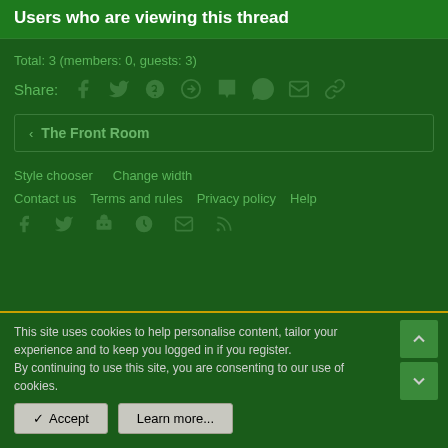Users who are viewing this thread
Total: 3 (members: 0, guests: 3)
Share: [social icons: Facebook, Twitter, Reddit, Pinterest, Tumblr, WhatsApp, Email, Link]
< The Front Room
Style chooser  Change width
Contact us  Terms and rules  Privacy policy  Help
[Footer icons: Facebook, Twitter, Discord, Steam, Email, RSS]
This site uses cookies to help personalise content, tailor your experience and to keep you logged in if you register.
By continuing to use this site, you are consenting to our use of cookies.
✓ Accept  Learn more...